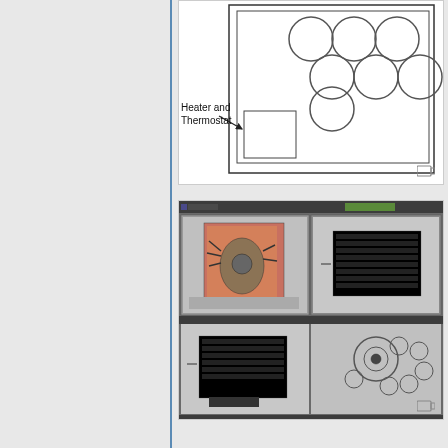[Figure (schematic): Engineering schematic diagram showing circles arrangement (top portion, cut off) with a label arrow pointing to a rectangular component labeled 'Heater and Thermostat']
[Figure (screenshot): 3D modeling software screenshot (appears to be 3ds Max or similar) showing four viewports: top-left with a 3D rendered pink/red box containing mechanical components, top-right with a front orthographic view showing heater coils, bottom-left with another orthographic view of heater coils, bottom-right with a top-down view showing circular fan/coil arrangement]